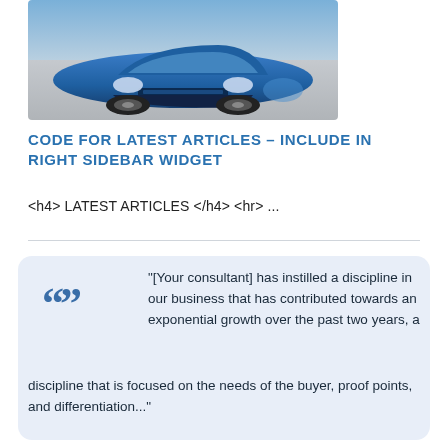[Figure (photo): Front view of a blue sports car (likely Volkswagen or similar) photographed from above/front angle on a grey surface]
CODE FOR LATEST ARTICLES – INCLUDE IN RIGHT SIDEBAR WIDGET
<h4> LATEST ARTICLES </h4> <hr> ...
"[Your consultant] has instilled a discipline in our business that has contributed towards an exponential growth over the past two years, a discipline that is focused on the needs of the buyer, proof points, and differentiation..."